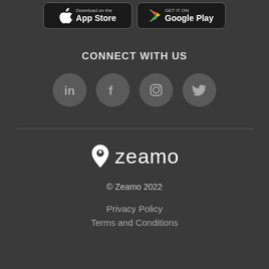[Figure (other): App Store and Google Play download buttons]
CONNECT WITH US
[Figure (other): Social media icons: LinkedIn, Facebook, Instagram, Twitter]
[Figure (logo): Zeamo logo with location pin icon and wordmark 'zeamo']
© Zeamo 2022
Privacy Policy
Terms and Conditions